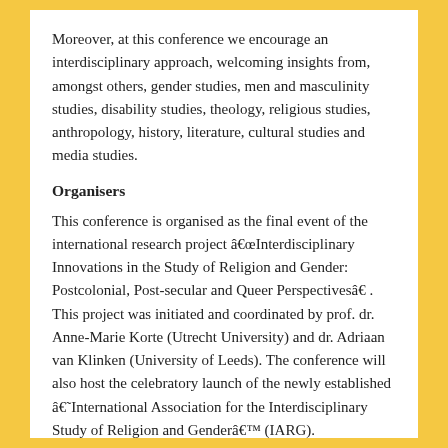Moreover, at this conference we encourage an interdisciplinary approach, welcoming insights from, amongst others, gender studies, men and masculinity studies, disability studies, theology, religious studies, anthropology, history, literature, cultural studies and media studies.
Organisers
This conference is organised as the final event of the international research project â€œInterdisciplinary Innovations in the Study of Religion and Gender: Postcolonial, Post-secular and Queer Perspectivesâ€ . This project was initiated and coordinated by prof. dr. Anne-Marie Korte (Utrecht University) and dr. Adriaan van Klinken (University of Leeds). The conference will also host the celebratory launch of the newly established â€˜International Association for the Interdisciplinary Study of Religion and Genderâ€™ (IARG).